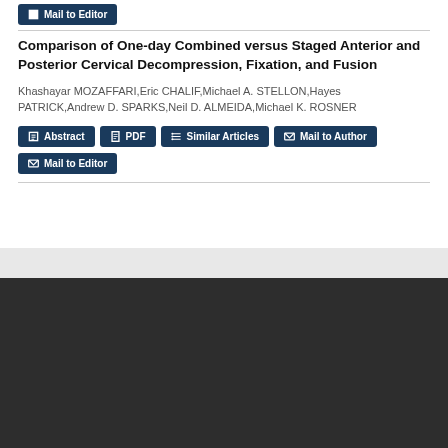Mail to Editor
Comparison of One-day Combined versus Staged Anterior and Posterior Cervical Decompression, Fixation, and Fusion
Khashayar MOZAFFARI,Eric CHALIF,Michael A. STELLON,Hayes PATRICK,Andrew D. SPARKS,Neil D. ALMEIDA,Michael K. ROSNER
Abstract | PDF | Similar Articles | Mail to Author | Mail to Editor